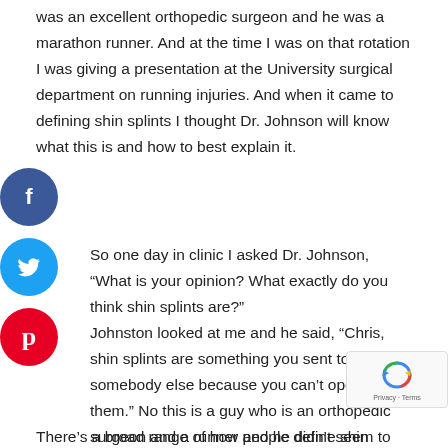was an excellent orthopedic surgeon and he was a marathon runner. And at the time I was on that rotation I was giving a presentation at the University surgical department on running injuries. And when it came to defining shin splints I thought Dr. Johnson will know what this is and how to best explain it.
So one day in clinic I asked Dr. Johnson, “What is your opinion? What exactly do you think shin splints are?”
Johnston looked at me and he said, “Chris, shin splints are something you sent to somebody else because you can’t operate on them.” No this is a guy who is an orthopedic surgeon and a runner and he didn’t seem to really know how to truly explain in simple terms what causes medial tibial stress syndrome or shin splints.
There’s a broad range of how people define shin splints.
[Figure (other): Facebook social share button (blue circle with f icon)]
[Figure (other): Twitter social share button (light blue circle with bird/t icon)]
[Figure (other): Pinterest social share button (red circle with P icon)]
[Figure (other): Google reCAPTCHA badge bottom right]